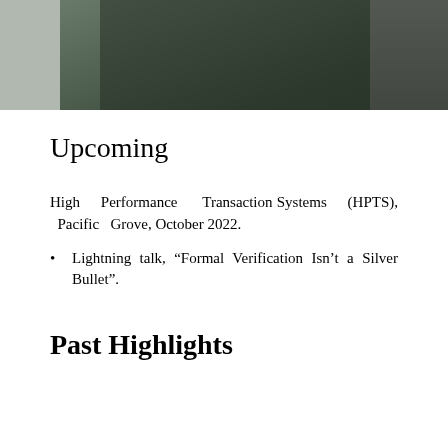[Figure (photo): Cropped photo of a person in a dark jacket, partial view at top of page]
Upcoming
High Performance Transaction Systems (HPTS), Pacific Grove, October 2022.
Lightning talk, “Formal Verification Isn’t a Silver Bullet”.
Past Highlights